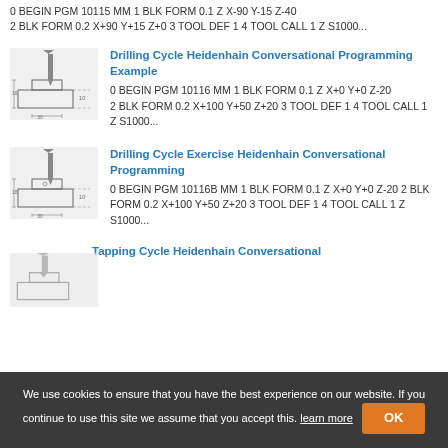0 BEGIN PGM 10115 MM 1 BLK FORM 0.1 Z X-90 Y-15 Z-40 2 BLK FORM 0.2 X+90 Y+15 Z+0 3 TOOL DEF 1 4 TOOL CALL 1 Z S1000...
[Figure (engineering-diagram): Technical engineering diagram showing a machined part with a drill bit, viewed from the side with dimension arrows]
Drilling Cycle Heidenhain Conversational Programming Example
0 BEGIN PGM 10116 MM 1 BLK FORM 0.1 Z X+0 Y+0 Z-20 2 BLK FORM 0.2 X+100 Y+50 Z+20 3 TOOL DEF 1 4 TOOL CALL 1 Z S1000...
[Figure (engineering-diagram): Technical engineering diagram showing a machined part with a drill bit, viewed from the side with dimension arrows]
Drilling Cycle Exercise Heidenhain Conversational Programming
0 BEGIN PGM 10116B MM 1 BLK FORM 0.1 Z X+0 Y+0 Z-20 2 BLK FORM 0.2 X+100 Y+50 Z+20 3 TOOL DEF 1 4 TOOL CALL 1 Z S1000...
[Figure (engineering-diagram): Partial technical engineering diagram showing a machined part with a drill bit]
Tapping Cycle Heidenhain Conversational
We use cookies to ensure that you have the best experience on our website. If you continue to use this site we assume that you accept this. learn more OK